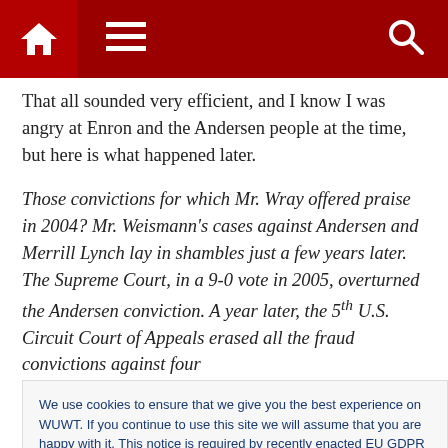[Figure (screenshot): Red navigation bar with home icon, hamburger menu, and search icon]
That all sounded very efficient, and I know I was angry at Enron and the Andersen people at the time, but here is what happened later.
Those convictions for which Mr. Wray offered praise in 2004? Mr. Weismann's cases against Andersen and Merrill Lynch lay in shambles just a few years later. The Supreme Court, in a 9-0 vote in 2005, overturned the Andersen conviction. A year later, the 5th U.S. Circuit Court of Appeals erased all the fraud convictions against four
We use cookies to ensure that we give you the best experience on WUWT. If you continue to use this site we will assume that you are happy with it. This notice is required by recently enacted EU GDPR rules, and since WUWT is a globally read website, we need to keep the bureaucrats off our case! Cookie Policy
Enron. The Supreme Court and Appeals Court rejection of